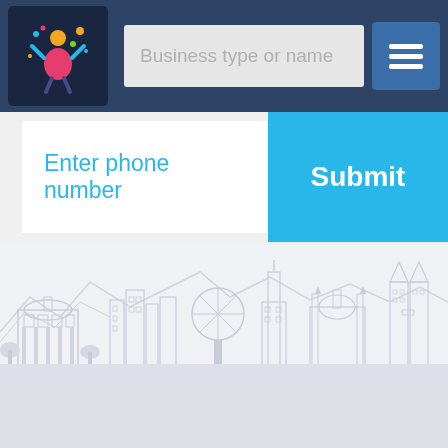[Figure (logo): Colorful community/people logo icon on dark background]
Business type or name
[Figure (illustration): Hamburger menu icon (three horizontal lines) on dark blue button]
Enter phone number
Submit
[Figure (illustration): City skyline silhouette in light gray tones showing various buildings and landmarks]